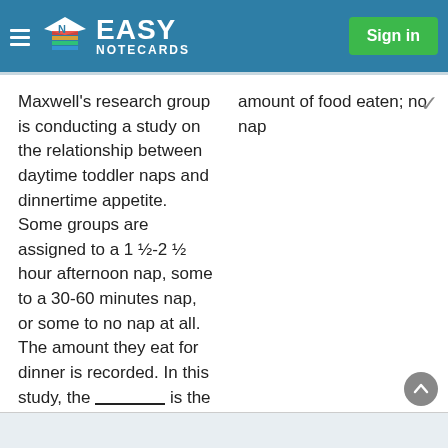Easy Notecards — Sign in
Maxwell's research group is conducting a study on the relationship between daytime toddler naps and dinnertime appetite. Some groups are assigned to a 1 ½-2 ½ hour afternoon nap, some to a 30-60 minutes nap, or some to no nap at all. The amount they eat for dinner is recorded. In this study, the ________ is the dependent variable and ________ is the control group.
amount of food eaten; no nap